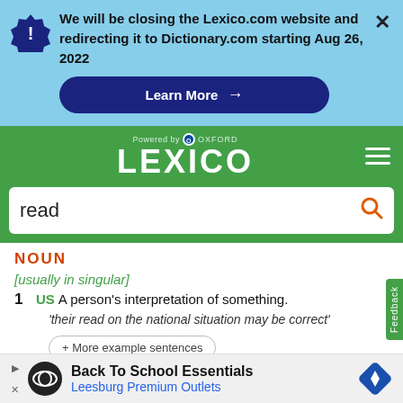We will be closing the Lexico.com website and redirecting it to Dictionary.com starting Aug 26, 2022
Learn More →
[Figure (logo): LEXICO powered by Oxford logo on green background]
read
NOUN
[usually in singular]
1  US  A person's interpretation of something.
'their read on the national situation may be correct'
+ More example sentences
[Figure (infographic): Advertisement for Back To School Essentials - Leesburg Premium Outlets]